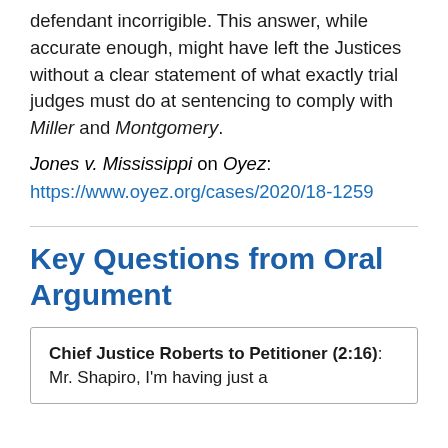defendant incorrigible. This answer, while accurate enough, might have left the Justices without a clear statement of what exactly trial judges must do at sentencing to comply with Miller and Montgomery.
Jones v. Mississippi on Oyez: https://www.oyez.org/cases/2020/18-1259
Key Questions from Oral Argument
Chief Justice Roberts to Petitioner (2:16): Mr. Shapiro, I'm having just a